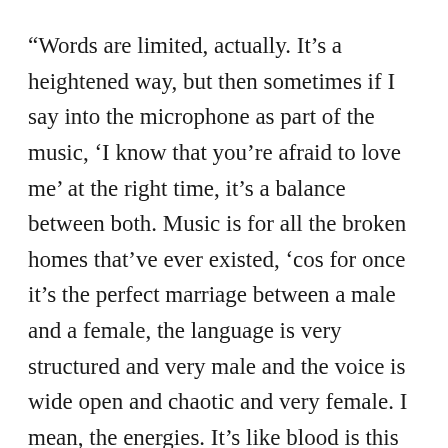“Words are limited, actually. It’s a heightened way, but then sometimes if I say into the microphone as part of the music, ‘I know that you’re afraid to love me’ at the right time, it’s a balance between both. Music is for all the broken homes that’ve ever existed, ‘cos for once it’s the perfect marriage between a male and a female, the language is very structured and very male and the voice is wide open and chaotic and very female. I mean, the energies. It’s like blood is this flowing thing and it needs the structure of the vein to take it to the right places. And without it there’s internal bleeding and death. And that’s why it’s so powerful. And that’s what I see. But it’s basically just songs about my life and life, basically.